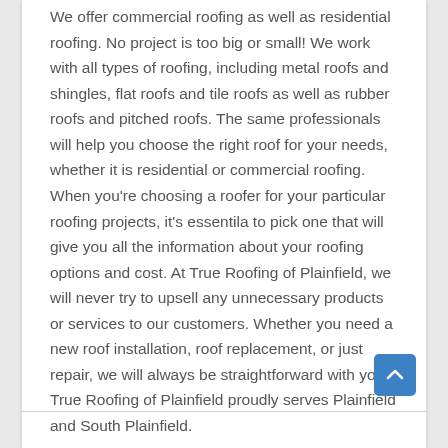We offer commercial roofing as well as residential roofing. No project is too big or small! We work with all types of roofing, including metal roofs and shingles, flat roofs and tile roofs as well as rubber roofs and pitched roofs. The same professionals will help you choose the right roof for your needs, whether it is residential or commercial roofing. When you're choosing a roofer for your particular roofing projects, it's essentila to pick one that will give you all the information about your roofing options and cost. At True Roofing of Plainfield, we will never try to upsell any unnecessary products or services to our customers. Whether you need a new roof installation, roof replacement, or just repair, we will always be straightforward with you. True Roofing of Plainfield proudly serves Plainfield and South Plainfield.